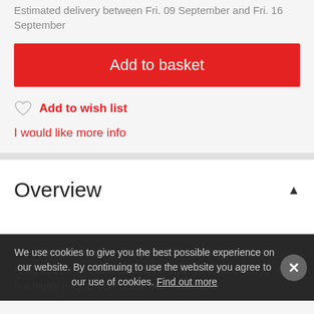Estimated delivery between Fri. 09 September and Fri. 16 September
Add to basket
Add to wish list
I would like more info
Overview
From the UK's leading vintage leather furniture Stocklist, Bringing you back to the swinging 60's, the industrial egg chair is a highly unique, collectable and memorable piece of furniture that...
We use cookies to give you the best possible experience on our website. By continuing to use the website you agree to our use of cookies. Find out more